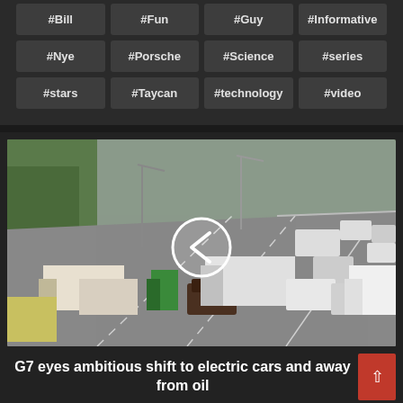#Bill
#Fun
#Guy
#Informative
#Nye
#Porsche
#Science
#series
#stars
#Taycan
#technology
#video
[Figure (photo): Aerial view of heavy highway traffic with trucks and cars on multiple lanes]
G7 eyes ambitious shift to electric cars and away from oil